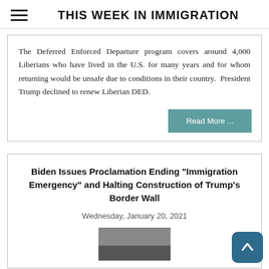THIS WEEK IN IMMIGRATION
The Deferred Enforced Departure program covers around 4,000 Liberians who have lived in the U.S. for many years and for whom returning would be unsafe due to conditions in their country.  President Trump declined to renew Liberian DED.
Read More ...
Biden Issues Proclamation Ending "Immigration Emergency" and Halting Construction of Trump's Border Wall
Wednesday, January 20, 2021